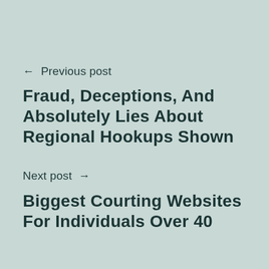← Previous post
Fraud, Deceptions, And Absolutely Lies About Regional Hookups Shown
Next post →
Biggest Courting Websites For Individuals Over 40